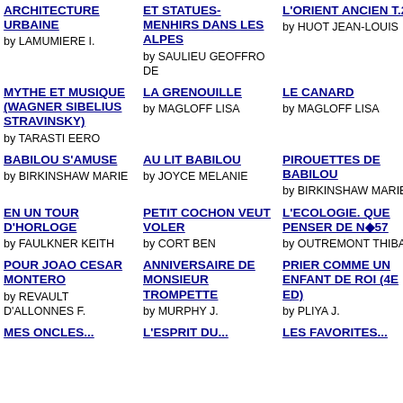ARCHITECTURE URBAINE by LAMUMIERE I.
ET STATUES- MENHIRS DANS LES ALPES by SAULIEU GEOFFRO DE
L'ORIENT ANCIEN T.2 by HUOT JEAN-LOUIS
L'OR... T.1 by HU...
MYTHE ET MUSIQUE (WAGNER SIBELIUS STRAVINSKY) by TARASTI EERO
LA GRENOUILLE by MAGLOFF LISA
LE CANARD by MAGLOFF LISA
PAGA... FERM... by SCH... FANN...
BABILOU S'AMUSE by BIRKINSHAW MARIE
AU LIT BABILOU by JOYCE MELANIE
PIROUETTES DE BABILOU by BIRKINSHAW MARIE
LE B... BABI... by JOY...
EN UN TOUR D'HORLOGE by FAULKNER KEITH
PETIT COCHON VEUT VOLER by CORT BEN
L'ECOLOGIE. QUE PENSER DE N◆57 by OUTREMONT THIBA
DU P... AU D... RAL... by LA... s.
POUR JOAO CESAR MONTERO by REVAULT D'ALLONNES F.
ANNIVERSAIRE DE MONSIEUR TROMPETTE by MURPHY J.
PRIER COMME UN ENFANT DE ROI (4E ED) by PLIYA J.
THEA... by ME...
MES ONCLES...
L'ESPRIT DU...
LES FAVORITES...
FISS...